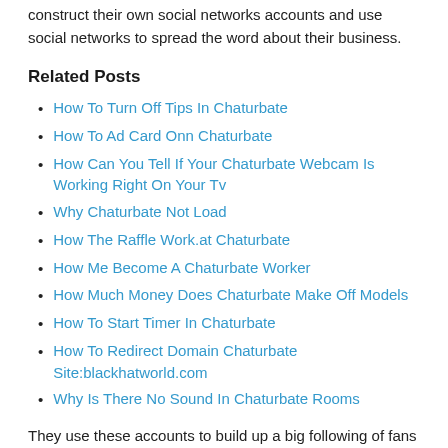construct their own social networks accounts and use social networks to spread the word about their business.
Related Posts
How To Turn Off Tips In Chaturbate
How To Ad Card Onn Chaturbate
How Can You Tell If Your Chaturbate Webcam Is Working Right On Your Tv
Why Chaturbate Not Load
How The Raffle Work.at Chaturbate
How Me Become A Chaturbate Worker
How Much Money Does Chaturbate Make Off Models
How To Start Timer In Chaturbate
How To Redirect Domain Chaturbate Site:blackhatworld.com
Why Is There No Sound In Chaturbate Rooms
They use these accounts to build up a big following of fans